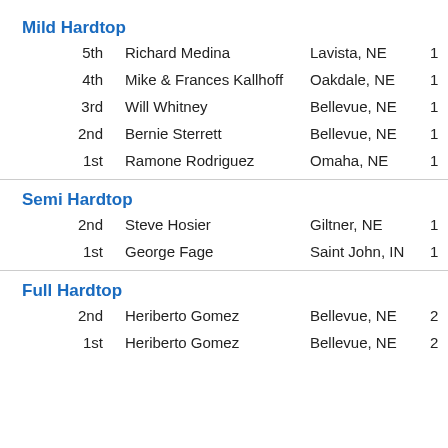Mild Hardtop
5th  Richard Medina  Lavista, NE  1
4th  Mike & Frances Kallhoff  Oakdale, NE  1
3rd  Will Whitney  Bellevue, NE  1
2nd  Bernie Sterrett  Bellevue, NE  1
1st  Ramone Rodriguez  Omaha, NE  1
Semi Hardtop
2nd  Steve Hosier  Giltner, NE  1
1st  George Fage  Saint John, IN  1
Full Hardtop
2nd  Heriberto Gomez  Bellevue, NE  2
1st  Heriberto Gomez  Bellevue, NE  2